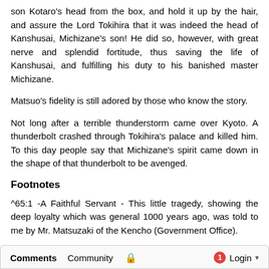son Kotaro's head from the box, and hold it up by the hair, and assure the Lord Tokihira that it was indeed the head of Kanshusai, Michizane's son! He did so, however, with great nerve and splendid fortitude, thus saving the life of Kanshusai, and fulfilling his duty to his banished master Michizane.
Matsuo's fidelity is still adored by those who know the story.
Not long after a terrible thunderstorm came over Kyoto. A thunderbolt crashed through Tokihira's palace and killed him. To this day people say that Michizane's spirit came down in the shape of that thunderbolt to be avenged.
Footnotes
^65:1 -A Faithful Servant - This little tragedy, showing the deep loyalty which was general 1000 years ago, was told to me by Mr. Matsuzaki of the Kencho (Government Office).
Ancient Tales and Folk-lore of Japan, by Richard Gordon Smith, [1918], at sacred-texts.com
Comments   Community   🔒   1   Login